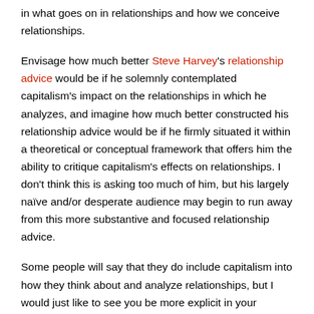in what goes on in relationships and how we conceive relationships.
Envisage how much better Steve Harvey's relationship advice would be if he solemnly contemplated capitalism's impact on the relationships in which he analyzes, and imagine how much better constructed his relationship advice would be if he firmly situated it within a theoretical or conceptual framework that offers him the ability to critique capitalism's effects on relationships. I don't think this is asking too much of him, but his largely naïve and/or desperate audience may begin to run away from this more substantive and focused relationship advice.
Some people will say that they do include capitalism into how they think about and analyze relationships, but I would just like to see you be more explicit in your critiques of capitalism's effects on relationships in your discussions and analyses.
When you no longer desire to be with a person who you thought you were interested in, I want you to think about that you may have learned something meaningful about yourself and what you want, so